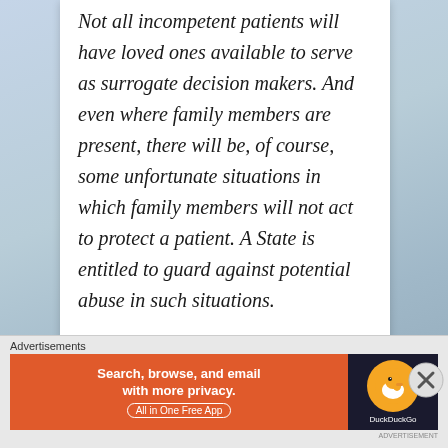Not all incompetent patients will have loved ones available to serve as surrogate decision makers. And even where family members are present, there will be, of course, some unfortunate situations in which family members will not act to protect a patient. A State is entitled to guard against potential abuse in such situations.
Advertisements